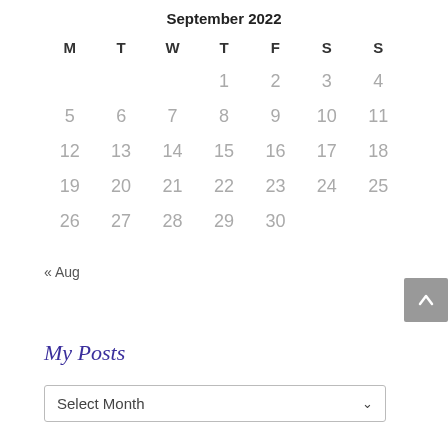September 2022
| M | T | W | T | F | S | S |
| --- | --- | --- | --- | --- | --- | --- |
|  |  |  | 1 | 2 | 3 | 4 |
| 5 | 6 | 7 | 8 | 9 | 10 | 11 |
| 12 | 13 | 14 | 15 | 16 | 17 | 18 |
| 19 | 20 | 21 | 22 | 23 | 24 | 25 |
| 26 | 27 | 28 | 29 | 30 |  |  |
« Aug
My Posts
Select Month